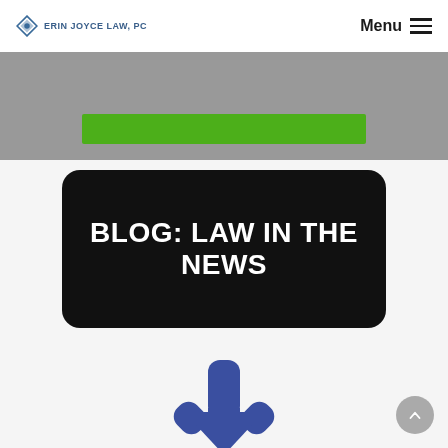ERIN JOYCE LAW PC | Menu
[Figure (other): Green horizontal button/bar on grey background banner]
[Figure (other): Black rounded rectangle card with white bold text reading BLOG: LAW IN THE NEWS]
[Figure (other): Blue downward arrow icon on light grey background, with grey circular scroll-to-top button in bottom right corner]